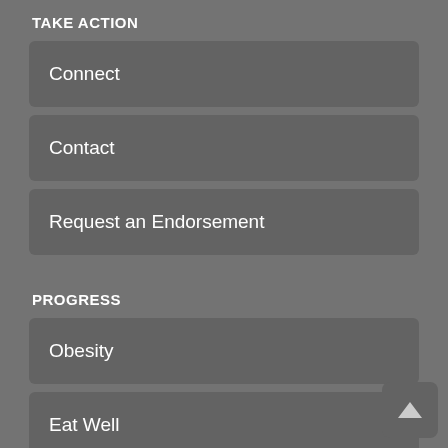TAKE ACTION
Connect
Contact
Request an Endorsement
PROGRESS
Obesity
Eat Well
Move More
Feel Better